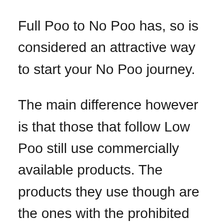Full Poo to No Poo has, so is considered an attractive way to start your No Poo journey.
The main difference however is that those that follow Low Poo still use commercially available products. The products they use though are the ones with the prohibited chemicals removed.
By comparison, No Poo'ers generally forgo commercial shampoos and only use natural products; most of which you can